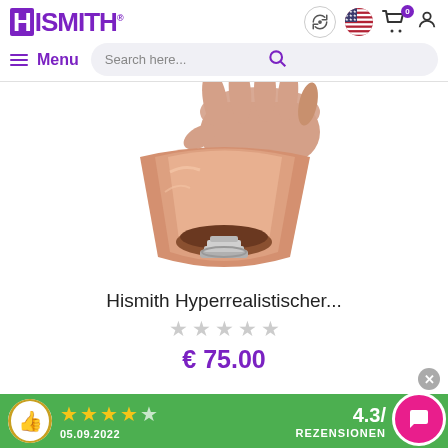HISMITH® — Menu | Search here...
[Figure (photo): A hand holding a skin-toned silicone product attachment with a metal connector at the base, shaped like a flared cup, against a white background.]
Hismith Hyperrealistischer...
€ 75.00
4.3/ — 05.09.2022 — REZENSIONEN